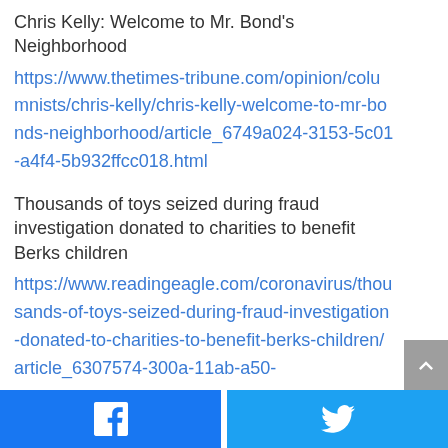Chris Kelly: Welcome to Mr. Bond's Neighborhood
https://www.thetimes-tribune.com/opinion/columnists/chris-kelly/chris-kelly-welcome-to-mr-bonds-neighborhood/article_6749a024-3153-5c01-a4f4-5b932ffcc018.html
Thousands of toys seized during fraud investigation donated to charities to benefit Berks children
https://www.readingeagle.com/coronavirus/thousands-of-toys-seized-during-fraud-investigation-donated-to-charities-to-benefit-berks-children/article_6307574-300a-11ab-a50-